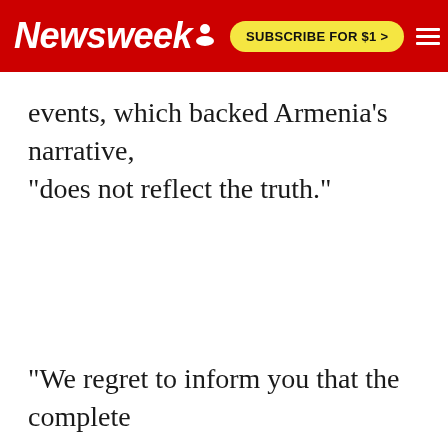Newsweek  SUBSCRIBE FOR $1 >
events, which backed Armenia's narrative, "does not reflect the truth."
"We regret to inform you that the complete